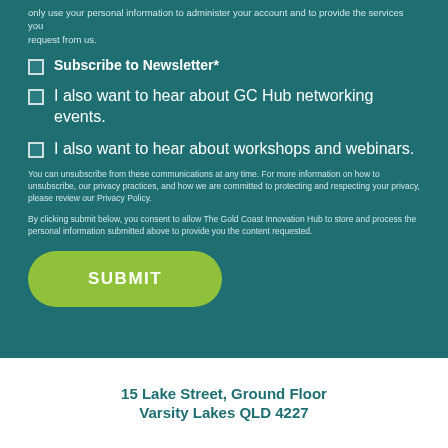only use your personal information to administer your account and to provide the services you request from us.
Subscribe to Newsletter*
I also want to hear about GC Hub networking events.
I also want to hear about workshops and webinars.
You can unsubscribe from these communications at any time. For more information on how to unsubscribe, our privacy practices, and how we are committed to protecting and respecting your privacy, please review our Privacy Policy.
By clicking submit below, you consent to allow The Gold Coast Innovation Hub to store and process the personal information submitted above to provide you the content requested.
SUBMIT
15 Lake Street, Ground Floor Varsity Lakes QLD 4227